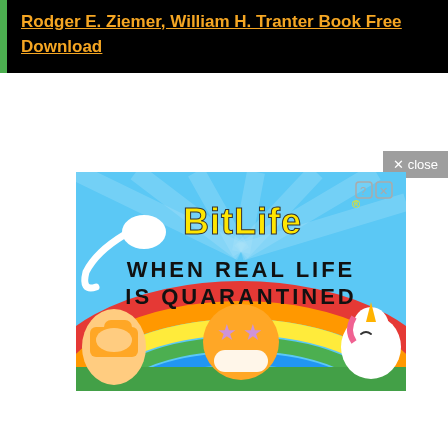Rodger E. Ziemer, William H. Tranter Book Free Download
[Figure (illustration): BitLife app advertisement. Light blue background with colorful rays. White sperm illustration on left. Yellow 'BitLife' logo text with superscript registered trademark and question mark/close icons. Text: 'WHEN REAL LIFE IS QUARANTINED'. Thumbs up emoji, masked star-eyes emoji, unicorn emoji on rainbow in lower portion.]
× close